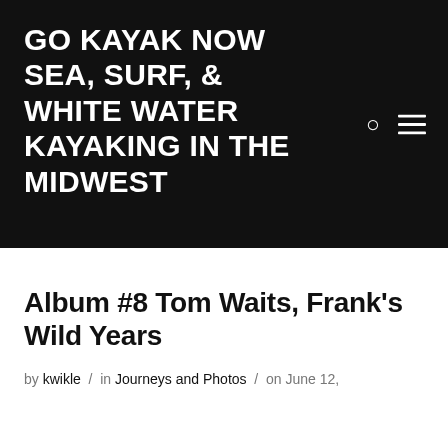GO KAYAK NOW SEA, SURF, & WHITE WATER KAYAKING IN THE MIDWEST
Album #8 Tom Waits, Frank's Wild Years
by kwikle / in Journeys and Photos / on June 12,